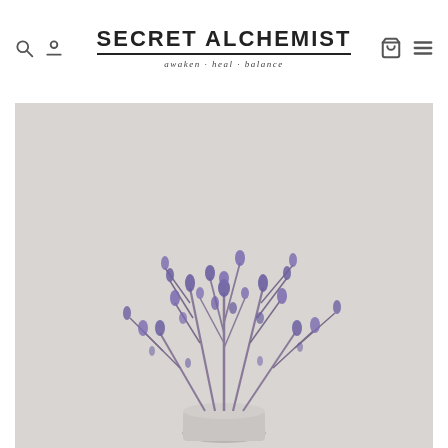SECRET ALCHEMIST — awaken · heal · balance
[Figure (photo): A bouquet of purple lavender stems in a white ceramic pot against a light grey background]